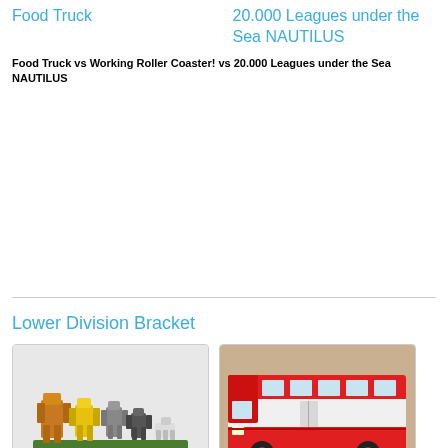Food Truck
20.000 Leagues under the Sea NAUTILUS
Food Truck vs Working Roller Coaster! vs 20.000 Leagues under the Sea NAUTILUS
Lower Division Bracket
[Figure (photo): LEGO transformer robots standing on a green base]
[Figure (photo): LEGO red and white bus model]